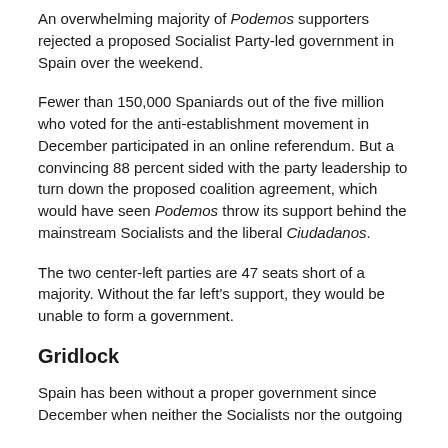An overwhelming majority of Podemos supporters rejected a proposed Socialist Party-led government in Spain over the weekend.
Fewer than 150,000 Spaniards out of the five million who voted for the anti-establishment movement in December participated in an online referendum. But a convincing 88 percent sided with the party leadership to turn down the proposed coalition agreement, which would have seen Podemos throw its support behind the mainstream Socialists and the liberal Ciudadanos.
The two center-left parties are 47 seats short of a majority. Without the far left's support, they would be unable to form a government.
Gridlock
Spain has been without a proper government since December when neither the Socialists nor the outgoing...